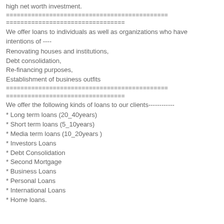high net worth investment.
=============================================
=================================
We offer loans to individuals as well as organizations who have
intentions of ----
Renovating houses and institutions,
Debt consolidation,
Re-financing purposes,
Establishment of business outfits
=============================================
=================================
We offer the following kinds of loans to our clients------------
* Long term loans (20_40years)
* Short term loans (5_10years)
* Media term loans (10_20years )
* Investors Loans
* Debt Consolidation
* Second Mortgage
* Business Loans
* Personal Loans
* International Loans
* Home loans.